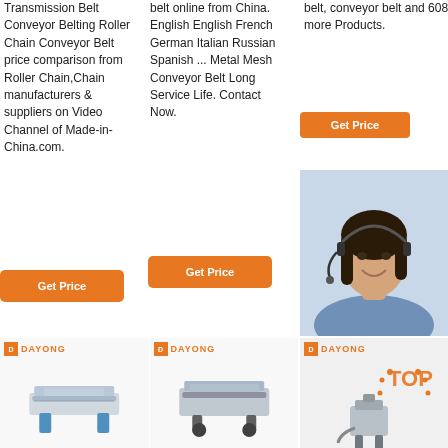Transmission Belt Conveyor Belting Roller Chain Conveyor Belt price comparison from Roller Chain,Chain manufacturers & suppliers on Video Channel of Made-in-China.com.
belt online from China. English English French German Italian Russian Spanish ... Metal Mesh Conveyor Belt Long Service Life. Contact Now.
belt, conveyor belt and 608 more Products.
[Figure (photo): Orange Get Price button (top right area)]
[Figure (photo): 24/7 Online badge and customer service agent photo with headset, chat panel with 'Click here for free chat!' text and QUOTATION button]
[Figure (photo): Orange Get Price button (column 1 bottom)]
[Figure (photo): Orange Get Price button (column 2 bottom)]
[Figure (photo): DAYONG branded linear vibrating screen machine 1]
[Figure (photo): DAYONG branded linear vibrating screen machine 2]
[Figure (photo): DAYONG branded machine 3 with TOP label]